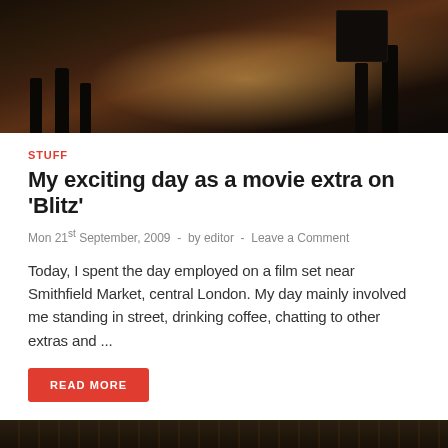[Figure (photo): Dark film set scene with silhouetted figures and bright stage lighting equipment, taken near Smithfield Market London]
STUFF
My exciting day as a movie extra on 'Blitz'
Mon 21st September, 2009 - by editor - Leave a Comment
Today, I spent the day employed on a film set near Smithfield Market, central London. My day mainly involved me standing in street, drinking coffee, chatting to other extras and ...
READ MORE
[Figure (photo): Partial view of a dark building facade with decorative architectural details, partially cropped at bottom of page]